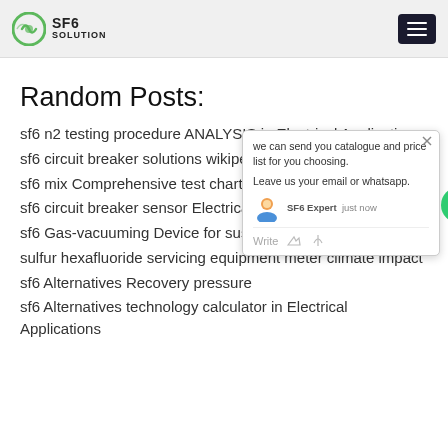SF6 SOLUTION
Random Posts:
sf6 n2 testing procedure ANALYSIS in Electrical Applications
sf6 circuit breaker solutions wikipedia in...
sf6 mix Comprehensive test chart amaz...
sf6 circuit breaker sensor Electrical indu...
sf6 Gas-vacuuming Device for sustai...ity
sulfur hexafluoride servicing equipment meter climate impact
sf6 Alternatives Recovery pressure
sf6 Alternatives technology calculator in Electrical Applications